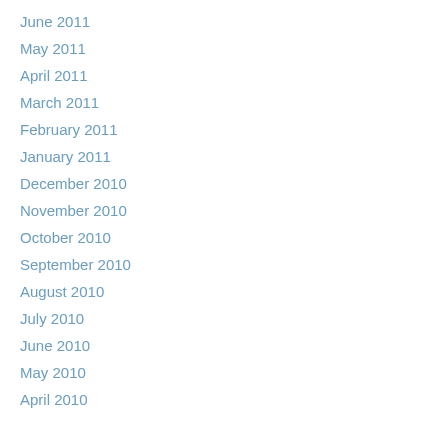June 2011
May 2011
April 2011
March 2011
February 2011
January 2011
December 2010
November 2010
October 2010
September 2010
August 2010
July 2010
June 2010
May 2010
April 2010